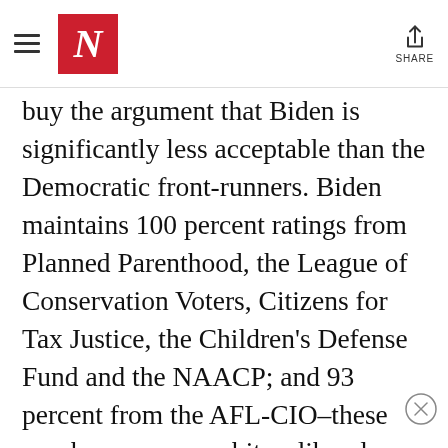The Nation — N logo and SHARE button
buy the argument that Biden is significantly less acceptable than the Democratic front-runners. Biden maintains 100 percent ratings from Planned Parenthood, the League of Conservation Voters, Citizens for Tax Justice, the Children's Defense Fund and the NAACP; and 93 percent from the AFL-CIO–these numbers are every bit as liberal as his competitors'.